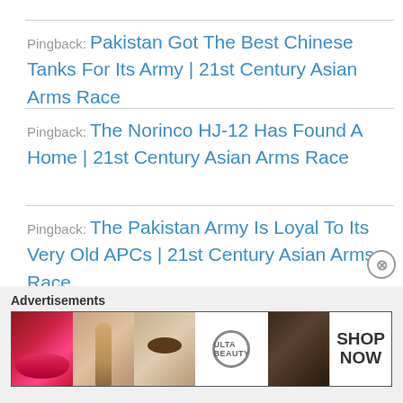Pingback: Pakistan Got The Best Chinese Tanks For Its Army | 21st Century Asian Arms Race
Pingback: The Norinco HJ-12 Has Found A Home | 21st Century Asian Arms Race
Pingback: The Pakistan Army Is Loyal To Its Very Old APCs | 21st Century Asian Arms Race
Pingback: The HJ-73 Is Never Quitting The PLA | 21st Century Asian Arms Race
[Figure (illustration): Advertisement banner for Ulta beauty products showing makeup images including lips, brush, eye, Ulta logo, eye makeup, and SHOP NOW text]